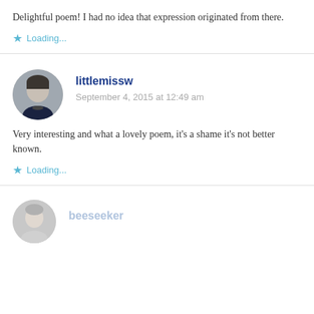Delightful poem! I had no idea that expression originated from there.
Loading...
littlemissw
September 4, 2015 at 12:49 am
Very interesting and what a lovely poem, it's a shame it's not better known.
Loading...
beeseeker